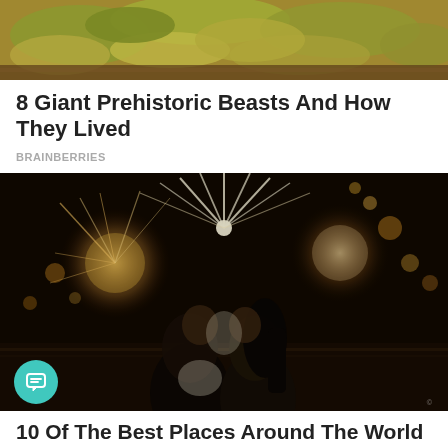[Figure (photo): Close-up of dry spices or moss-like green and yellow powdery substances on a surface]
8 Giant Prehistoric Beasts And How They Lived
BRAINBERRIES
[Figure (photo): Couple about to kiss in front of fireworks display at night, romantic scene with bokeh lights]
10 Of The Best Places Around The World To Go Stargazing
BRAINBERRIES